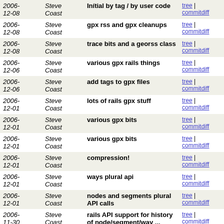| Date | Author | Message | Links |
| --- | --- | --- | --- |
| 2006-12-08 | Steve Coast | Inítial by tag / by user code | tree | commitdiff |
| 2006-12-08 | Steve Coast | gpx rss and gpx cleanups | tree | commitdiff |
| 2006-12-08 | Steve Coast | trace bits and a georss class | tree | commitdiff |
| 2006-12-06 | Steve Coast | various gpx rails things | tree | commitdiff |
| 2006-12-06 | Steve Coast | add tags to gpx files | tree | commitdiff |
| 2006-12-01 | Steve Coast | lots of rails gpx stuff | tree | commitdiff |
| 2006-12-01 | Steve Coast | various gpx bits | tree | commitdiff |
| 2006-12-01 | Steve Coast | various gpx bits | tree | commitdiff |
| 2006-12-01 | Steve Coast | compression! | tree | commitdiff |
| 2006-12-01 | Steve Coast | ways plural api | tree | commitdiff |
| 2006-12-01 | Steve Coast | nodes and segments plural API calls | tree | commitdiff |
| 2006-11-30 | Steve Coast | rails API support for history of node/segment/way ... | tree | commitdiff |
| 2006-11-30 | Steve Coast | trace stuff in rails port | tree | commitdiff |
| 2006- | Steve Coast | GPX trace rails stuff | tree | |